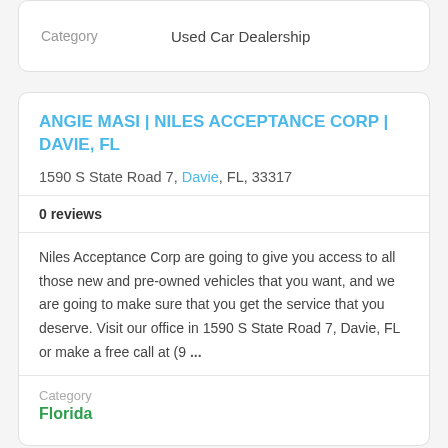Category   Used Car Dealership
ANGIE MASI | NILES ACCEPTANCE CORP | DAVIE, FL
1590 S State Road 7, Davie, FL, 33317
0 reviews
Niles Acceptance Corp are going to give you access to all those new and pre-owned vehicles that you want, and we are going to make sure that you get the service that you deserve. Visit our office in 1590 S State Road 7, Davie, FL or make a free call at (9 ...
Category
Florida